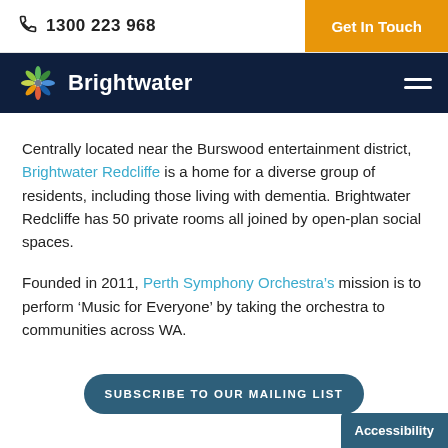1300 223 968 | Get In Touch
[Figure (logo): Brightwater logo with colorful asterisk/star icon and text 'Brightwater']
Centrally located near the Burswood entertainment district, Brightwater Redcliffe is a home for a diverse group of residents, including those living with dementia. Brightwater Redcliffe has 50 private rooms all joined by open-plan social spaces.
Founded in 2011, Perth Symphony Orchestra's mission is to perform ‘Music for Everyone’ by taking the orchestra to communities across WA.
SUBSCRIBE TO OUR MAILING LIST
Accessibility